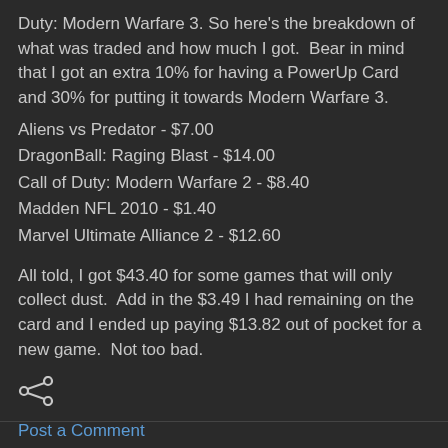Duty: Modern Warfare 3. So here's the breakdown of what was traded and how much I got.  Bear in mind that I got an extra 10% for having a PowerUp Card and 30% for putting it towards Modern Warfare 3.
Aliens vs Predator - $7.00
DragonBall: Raging Blast - $14.00
Call of Duty: Modern Warfare 2 - $8.40
Madden NFL 2010 - $1.40
Marvel Ultimate Alliance 2 - $12.60
All told, I got $43.40 for some games that will only collect dust.  Add in the $3.49 I had remaining on the card and I ended up paying $13.82 out of pocket for a new game.  Not too bad.
[Figure (other): Share icon (less-than style share symbol)]
Post a Comment